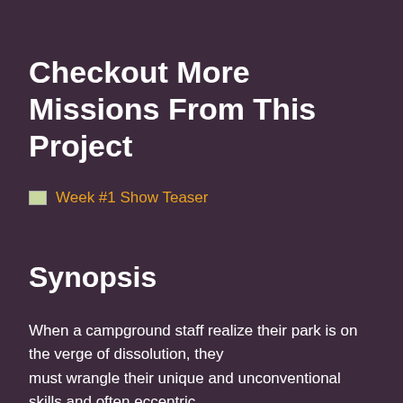Checkout More Missions From This Project
[Figure (other): Broken/placeholder image icon followed by link text 'Week #1 Show Teaser' in orange]
Synopsis
When a campground staff realize their park is on the verge of dissolution, they must wrangle their unique and unconventional skills and often eccentric personalities to keep things up to par and ahead of the neighbouring super-park, Rockwater Beach.